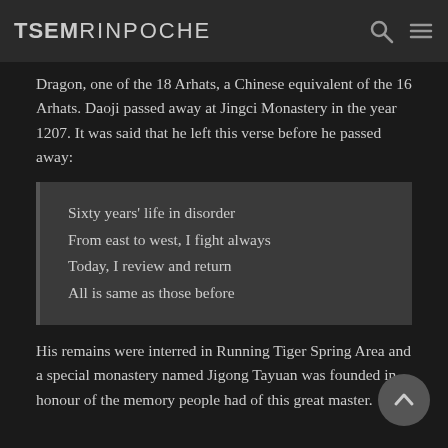TSEMRINPOCHE
Dragon, one of the 18 Arhats, a Chinese equivalent of the 16 Arhats. Daoji passed away at Jingci Monastery in the year 1207. It was said that he left this verse before he passed away:
Sixty years' life in disorder
From east to west, I fight always
Today, I review and return
All is same as those before
His remains were interred in Running Tiger Spring Area and a special monastery named Jigong Tayuan was founded in honour of the memory people had of this great master.